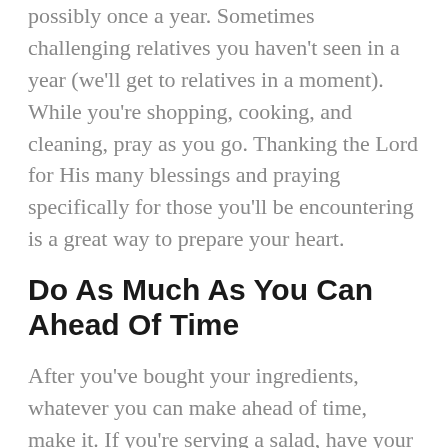possibly once a year. Sometimes challenging relatives you haven't seen in a year (we'll get to relatives in a moment). While you're shopping, cooking, and cleaning, pray as you go. Thanking the Lord for His many blessings and praying specifically for those you'll be encountering is a great way to prepare your heart.
Do As Much As You Can Ahead Of Time
After you've bought your ingredients, whatever you can make ahead of time, make it. If you're serving a salad, have your vegetables chopped, nuts toasted,